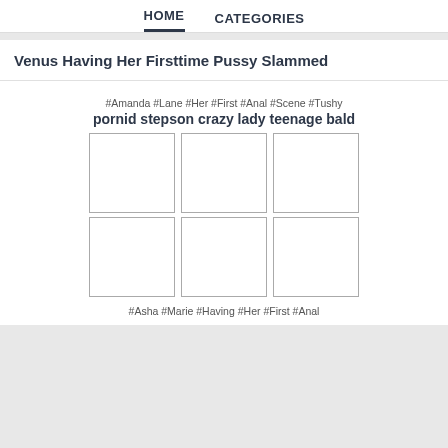HOME   CATEGORIES
Venus Having Her Firsttime Pussy Slammed
#Amanda #Lane #Her #First #Anal #Scene #Tushy
pornid stepson crazy lady teenage bald
[Figure (other): 2x3 grid of empty image placeholder boxes]
#Asha #Marie #Having #Her #First #Anal